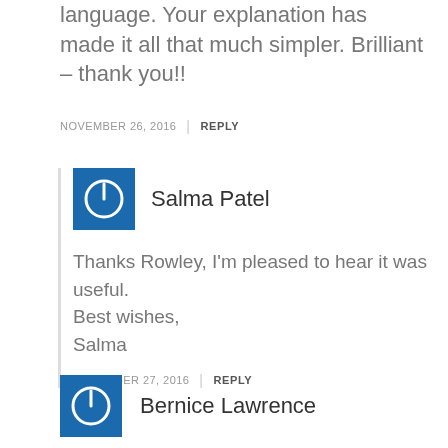language. Your explanation has made it all that much simpler. Brilliant – thank you!!
NOVEMBER 26, 2016 | REPLY
Salma Patel
Thanks Rowley, I'm pleased to hear it was useful.
Best wishes,
Salma
NOVEMBER 27, 2016 | REPLY
Bernice Lawrence